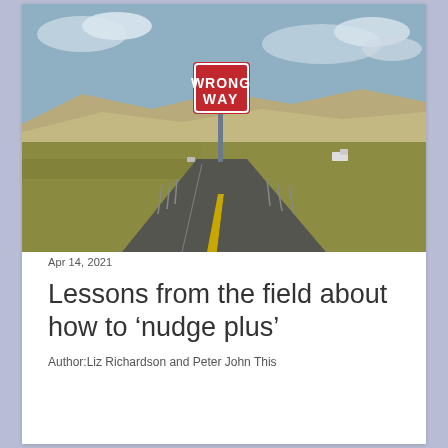[Figure (photo): A road with a red 'WRONG WAY' sign in the foreground. The highway stretches into the distance with dry grassland terrain and mountains in the background under a partly cloudy sky.]
Apr 14, 2021
Lessons from the field about how to ‘nudge plus’
Author:Liz Richardson and Peter John This